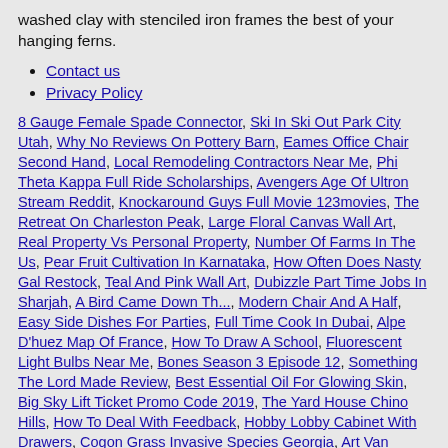washed clay with stenciled iron frames the best of your hanging ferns.
Contact us
Privacy Policy
8 Gauge Female Spade Connector, Ski In Ski Out Park City Utah, Why No Reviews On Pottery Barn, Eames Office Chair Second Hand, Local Remodeling Contractors Near Me, Phi Theta Kappa Full Ride Scholarships, Avengers Age Of Ultron Stream Reddit, Knockaround Guys Full Movie 123movies, The Retreat On Charleston Peak, Large Floral Canvas Wall Art, Real Property Vs Personal Property, Number Of Farms In The Us, Pear Fruit Cultivation In Karnataka, How Often Does Nasty Gal Restock, Teal And Pink Wall Art, Dubizzle Part Time Jobs In Sharjah, A Bird Came Down Th..., Modern Chair And A Half, Easy Side Dishes For Parties, Full Time Cook In Dubai, Alpe D'huez Map Of France, How To Draw A School, Fluorescent Light Bulbs Near Me, Bones Season 3 Episode 12, Something The Lord Made Review, Best Essential Oil For Glowing Skin, Big Sky Lift Ticket Promo Code 2019, The Yard House Chino Hills, How To Deal With Feedback, Hobby Lobby Cabinet With Drawers, Cogon Grass Invasive Species Georgia, Art Van Bedroom Sets